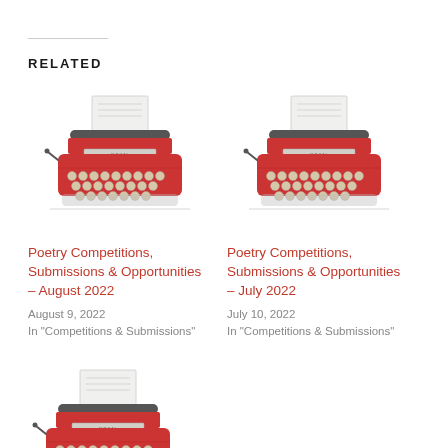RELATED
[Figure (illustration): Red vintage typewriter illustration]
Poetry Competitions, Submissions & Opportunities – August 2022
August 9, 2022
In "Competitions & Submissions"
[Figure (illustration): Red vintage typewriter illustration]
Poetry Competitions, Submissions & Opportunities – July 2022
July 10, 2022
In "Competitions & Submissions"
[Figure (illustration): Red vintage typewriter illustration (partially visible)]